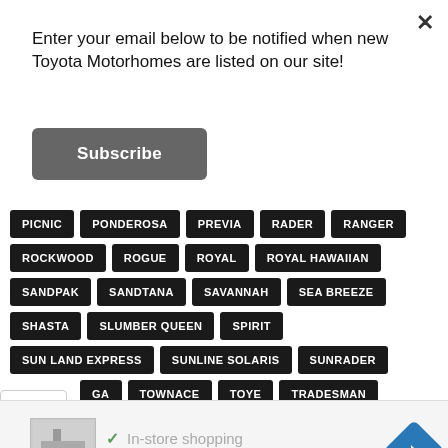Enter your email below to be notified when new Toyota Motorhomes are listed on our site!
Subscribe
PICNIC
PONDEROSA
PREVIA
RADER
RANGER
ROCKWOOD
ROGUE
ROYAL
ROYAL HAWAIIAN
SANDPAK
SANDTANA
SAVANNAH
SEA BREEZE
SHASTA
SLUMBER QUEEN
SPIRIT
SUN LAND EXPRESS
SUNLINE SOLARIS
SUNRADER
GA
TOWNACE
TOYE
TRADESMAN
In-store shopping
Delivery